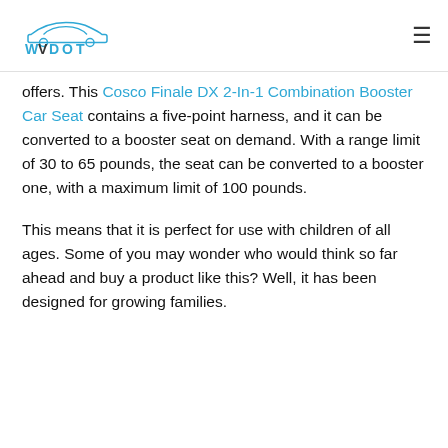WVDOT
offers. This Cosco Finale DX 2-In-1 Combination Booster Car Seat contains a five-point harness, and it can be converted to a booster seat on demand. With a range limit of 30 to 65 pounds, the seat can be converted to a booster one, with a maximum limit of 100 pounds.
This means that it is perfect for use with children of all ages. Some of you may wonder who would think so far ahead and buy a product like this? Well, it has been designed for growing families.